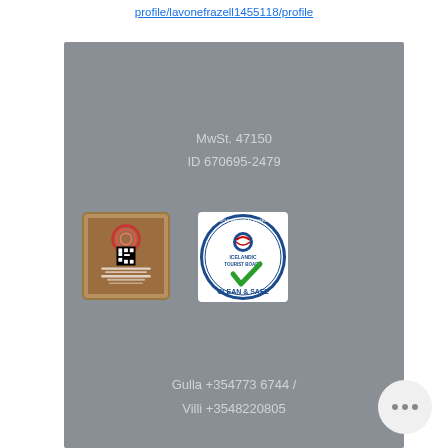profile/lavonefrazell1455118/profile
[Figure (screenshot): Gray background panel with certification badges and contact info]
MwSt. 47150
ID 670695-2479
[Figure (logo): Ferdasad Dagsvferda Authorized Day Tour Provider 2019 badge]
[Figure (logo): Icelandic Tourist Board Clean and Safe compliance stamp]
Gulla +354773 6744 / Villi +3548220805